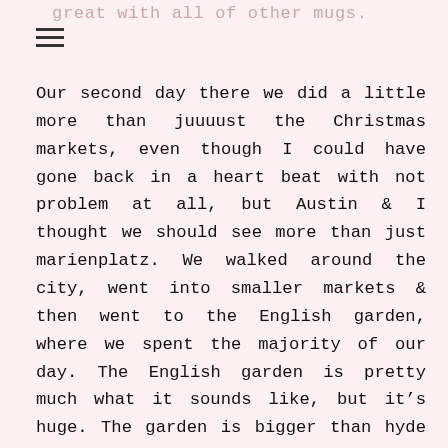great with all of other mugs.
Our second day there we did a little more than juuuust the Christmas markets, even though I could have gone back in a heart beat with not problem at all, but Austin & I thought we should see more than just marienplatz. We walked around the city, went into smaller markets & then went to the English garden, where we spent the majority of our day. The English garden is pretty much what it sounds like, but it’s huge. The garden is bigger than hyde park in London, & central park in new york. It’ has paths going in every direction & despite the incredibly cold temperatures, people were out riding bikes, playing Frisbee, walking their dogs, sitting on benches reading or talking & musicians playing throughout the park. There is a stream that flows